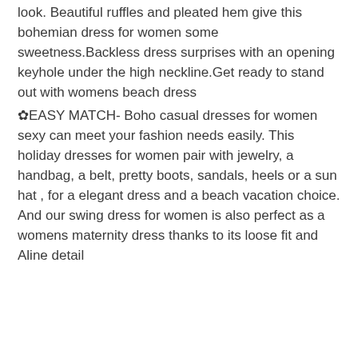look. Beautiful ruffles and pleated hem give this bohemian dress for women some sweetness.Backless dress surprises with an opening keyhole under the high neckline.Get ready to stand out with womens beach dress
✿EASY MATCH- Boho casual dresses for women sexy can meet your fashion needs easily. This holiday dresses for women pair with jewelry, a handbag, a belt, pretty boots, sandals, heels or a sun hat , for a elegant dress and a beach vacation choice. And our swing dress for women is also perfect as a womens maternity dress thanks to its loose fit and Aline detail